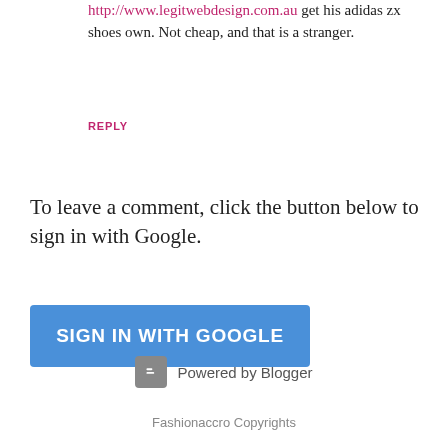http://www.legitwebdesign.com.au get his adidas zx shoes own. Not cheap, and that is a stranger.
REPLY
To leave a comment, click the button below to sign in with Google.
[Figure (other): Blue button labeled SIGN IN WITH GOOGLE]
Powered by Blogger
Fashionaccro Copyrights